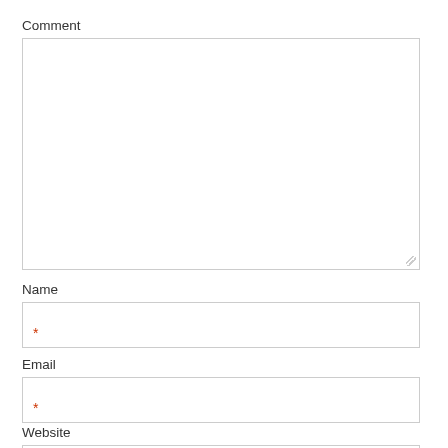Comment
[Figure (screenshot): Empty textarea input box for comment field with resize handle at bottom right]
Name
[Figure (screenshot): Empty text input box for name field with required asterisk (*) at bottom left]
Email
[Figure (screenshot): Empty text input box for email field with required asterisk (*) at bottom left]
Website
[Figure (screenshot): Partially visible empty text input box for website field]